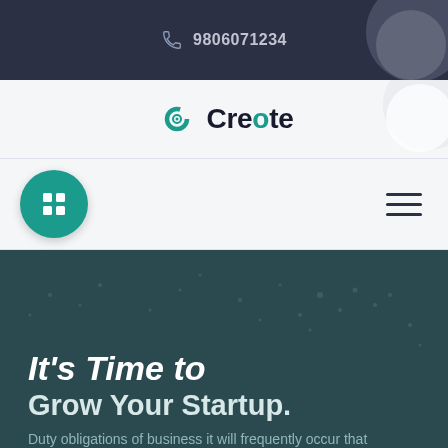9806071234
[Figure (logo): Creote logo with teal C icon and black text]
[Figure (other): Navigation bar with teal grid button on left and hamburger menu on right]
It’s Time to Grow Your Startup.
Duty obligations of business it will frequently occur that